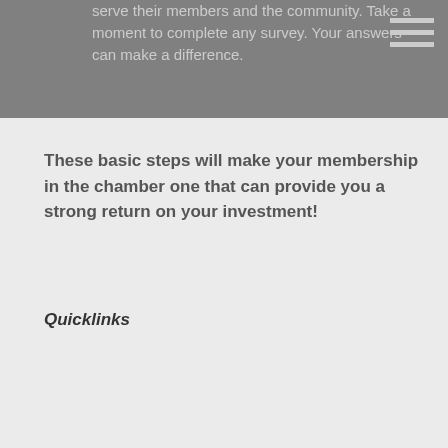serve their members and the community. Take a moment to complete any survey. Your answers can make a difference.
These basic steps will make your membership in the chamber one that can provide you a strong return on your investment!
Quicklinks